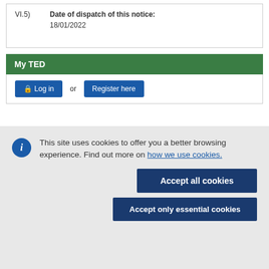VI.5) Date of dispatch of this notice: 18/01/2022
My TED
Log in or Register here
This site uses cookies to offer you a better browsing experience. Find out more on how we use cookies.
Accept all cookies
Accept only essential cookies